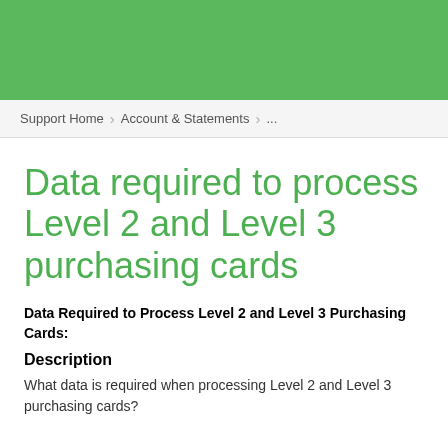Support Home > Account & Statements > ...
Data required to process Level 2 and Level 3 purchasing cards
Data Required to Process Level 2 and Level 3 Purchasing Cards:
Description
What data is required when processing Level 2 and Level 3 purchasing cards?